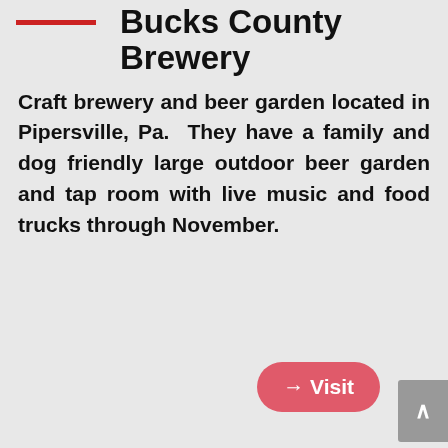[Figure (logo): Red horizontal line logo/placeholder for Bucks County Brewery]
Bucks County Brewery
Craft brewery and beer garden located in Pipersville, Pa. They have a family and dog friendly large outdoor beer garden and tap room with live music and food trucks through November.
→ Visit
[Figure (logo): Evil Genius Beer Company circular logo with stylized E letter, blue and white, in red-bordered square]
Evil Genius Brewing Co
Located on Front Street in Philadelphia Evil Genius has some of